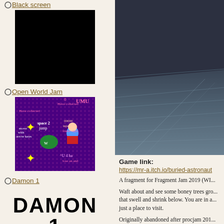Black screen
[Figure (screenshot): Black screen image - entirely black rectangle]
Open World Jam
[Figure (screenshot): Colorful pixel art game screenshot with purple/pink background, yellow star collectibles, a character, and text overlays reading 'move with arrow keys', 'space 2 jump', 'Have collected', 'UMU', 'frame right', 'lose an and']
Damon 1
[Figure (screenshot): Text image reading DAMON in large bold black letters on the first line, and 1 below it]
[Figure (screenshot): 3D game screenshot showing a dark scene with boney trees and undulating ground, viewed from above at an angle. Dark gray color with subtle terrain lines.]
Game link:
https://mr-a.itch.io/buried-astronaut
A fragment for Fragment Jam 2019 (WI...
Waft about and see some boney trees gro... that swell and shrink below. You are in a... just a place to visit.
Originally abandoned after procjam 201... released projects and stuffed them in...